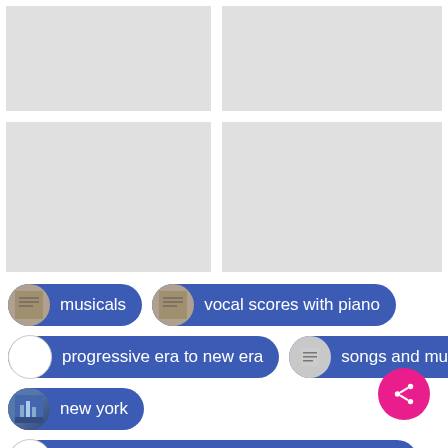[Figure (screenshot): Four gray placeholder image tiles arranged in a 2x2 grid. Top-left and top-right are small rectangles; bottom-left and bottom-right are taller rectangles.]
musicals
vocal scores with piano
progressive era to new era
songs and music
new york
the library of congress celebrates the songs of a